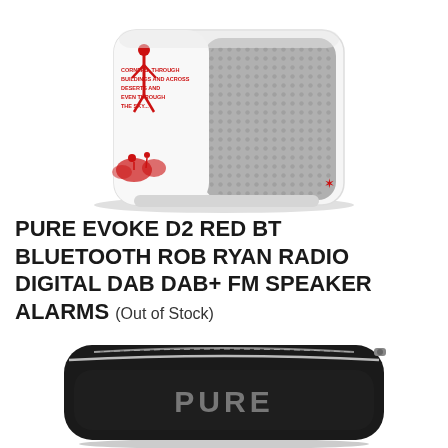[Figure (photo): White Pure Evoke D2 Red BT Bluetooth Rob Ryan Radio with red illustrated artwork on the side and grey mesh speaker grille on the front]
PURE EVOKE D2 RED BT BLUETOOTH ROB RYAN RADIO DIGITAL DAB DAB+ FM SPEAKER ALARMS (Out of Stock)
[Figure (photo): Black Pure branded hard carry case with zipper and PURE logo in silver text on the front]